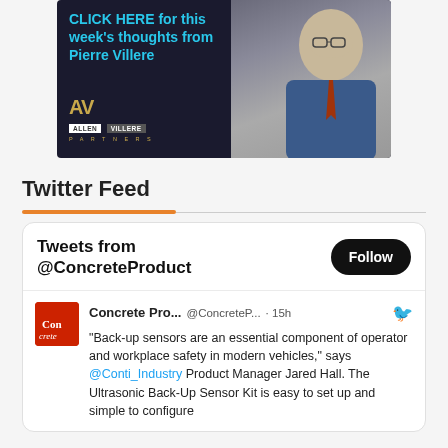[Figure (photo): Advertisement banner for Allen Villere Partners featuring Pierre Villere. Dark blue background with cyan text 'CLICK HERE for this week's thoughts from Pierre Villere', Allen Villere Partners logo, and a photo of a smiling man in a suit.]
Twitter Feed
Tweets from @ConcreteProduct
Concrete Pro... @ConcreteP... · 15h
"Back-up sensors are an essential component of operator and workplace safety in modern vehicles," says @Conti_Industry Product Manager Jared Hall. The Ultrasonic Back-Up Sensor Kit is easy to set up and simple to configure